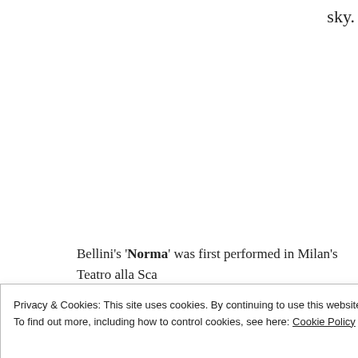sky.
Bellini's 'Norma' was first performed in Milan's Teatro alla Sca... Giuditta Pasta took the title role for this her inaugural performa... prepared herself for singing this part which Bellini had written w... range of her voice in mind. Her voice had inspired him to create... initially even Giuditta feared might be beyond her capabilities. ... in spite of a lukewarm reception on that opening night, Norma ... times during that first season at Milan. Later in August 1832, Be... 'Norma' at Bergamo. He wrote to his librettist Romani of the p...
Privacy & Cookies: This site uses cookies. By continuing to use this website, you agree to their use.
To find out more, including how to control cookies, see here: Cookie Policy
Close and accept